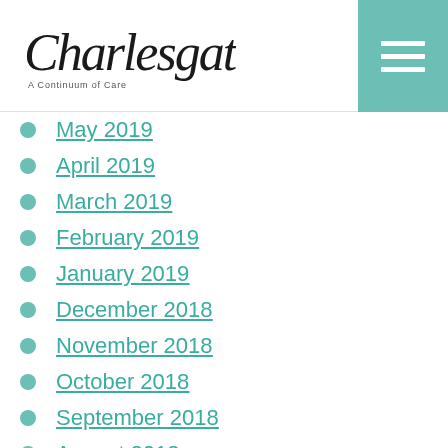[Figure (logo): Charlesgate A Continuum of Care logo with cursive/script text and hamburger menu icon in teal]
May 2019
April 2019
March 2019
February 2019
January 2019
December 2018
November 2018
October 2018
September 2018
August 2018
July 2018
June 2018
May 2018